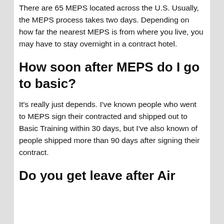There are 65 MEPS located across the U.S. Usually, the MEPS process takes two days. Depending on how far the nearest MEPS is from where you live, you may have to stay overnight in a contract hotel.
How soon after MEPS do I go to basic?
It's really just depends. I've known people who went to MEPS sign their contracted and shipped out to Basic Training within 30 days, but I've also known of people shipped more than 90 days after signing their contract.
Do you get leave after Air